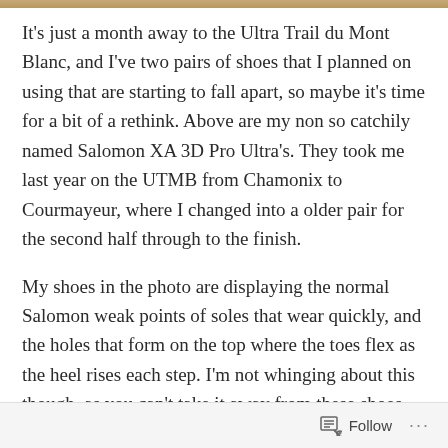[Figure (other): Thin decorative image strip at the top of the page]
It's just a month away to the Ultra Trail du Mont Blanc, and I've two pairs of shoes that I planned on using that are starting to fall apart, so maybe it's time for a bit of a rethink. Above are my non so catchily named Salomon XA 3D Pro Ultra's. They took me last year on the UTMB from Chamonix to Courmayeur, where I changed into a older pair for the second half through to the finish.
My shoes in the photo are displaying the normal Salomon weak points of soles that wear quickly, and the holes that form on the top where the toes flex as the heel rises each step. I'm not whinging about this though, as you can't take it away from these shoes, that they are damn comfy and have never once given me a blister, even when used
Follow ···